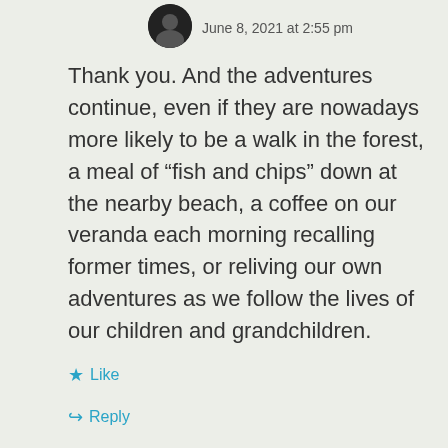June 8, 2021 at 2:55 pm
Thank you. And the adventures continue, even if they are nowadays more likely to be a walk in the forest, a meal of “fish and chips” down at the nearby beach, a coffee on our veranda each morning recalling former times, or reliving our own adventures as we follow the lives of our children and grandchildren.
★ Like
↪ Reply